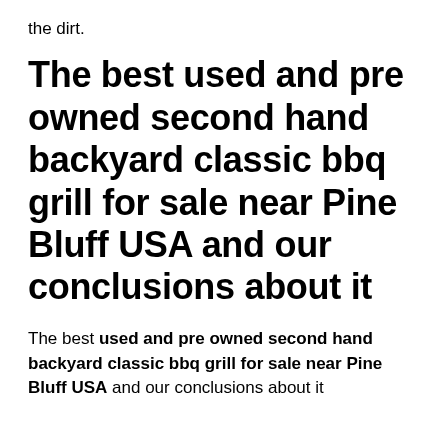the dirt.
The best used and pre owned second hand backyard classic bbq grill for sale near Pine Bluff USA and our conclusions about it
The best used and pre owned second hand backyard classic bbq grill for sale near Pine Bluff USA and our conclusions about it